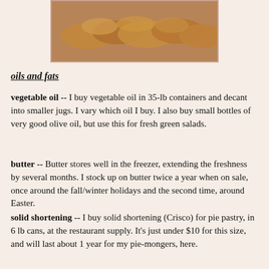[Figure (photo): Photo of golden-brown fried food items (finger-shaped pastries or fried snacks) on a surface]
oils and fats
vegetable oil -- I buy vegetable oil in 35-lb containers and decant into smaller jugs. I vary which oil I buy. I also buy small bottles of very good olive oil, but use this for fresh green salads.
butter -- Butter stores well in the freezer, extending the freshness by several months. I stock up on butter twice a year when on sale, once around the fall/winter holidays and the second time, around Easter.
solid shortening -- I buy solid shortening (Crisco) for pie pastry, in 6 lb cans, at the restaurant supply. It's just under $10 for this size, and will last about 1 year for my pie-mongers, here.